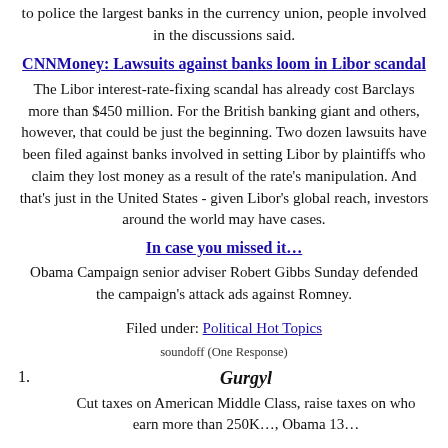to police the largest banks in the currency union, people involved in the discussions said.
CNNMoney: Lawsuits against banks loom in Libor scandal
The Libor interest-rate-fixing scandal has already cost Barclays more than $450 million. For the British banking giant and others, however, that could be just the beginning. Two dozen lawsuits have been filed against banks involved in setting Libor by plaintiffs who claim they lost money as a result of the rate's manipulation. And that's just in the United States - given Libor's global reach, investors around the world may have cases.
In case you missed it…
Obama Campaign senior adviser Robert Gibbs Sunday defended the campaign's attack ads against Romney.
Filed under: Political Hot Topics
soundoff (One Response)
1. Gurgyl
Cut taxes on American Middle Class, raise taxes on who earn more than 250K…, Obama 13…